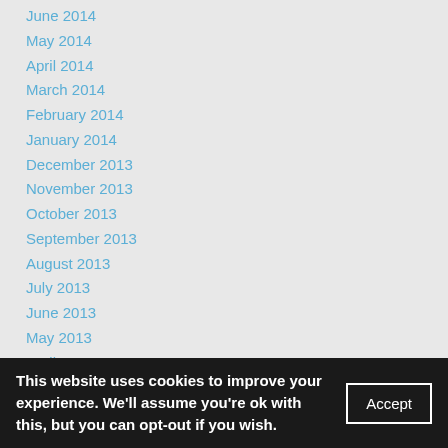June 2014
May 2014
April 2014
March 2014
February 2014
January 2014
December 2013
November 2013
October 2013
September 2013
August 2013
July 2013
June 2013
May 2013
April 2013
March 2013
This website uses cookies to improve your experience. We'll assume you're ok with this, but you can opt-out if you wish. Accept